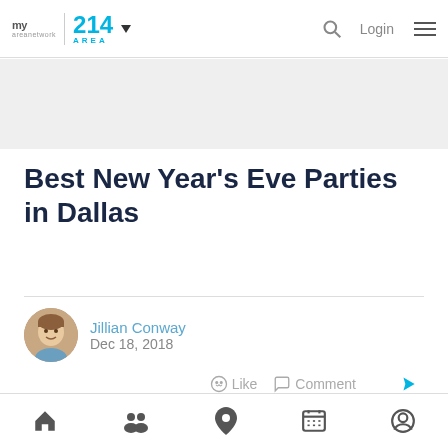my area network | 214 AREA navigation bar with Login
[Figure (illustration): Gray advertisement/banner placeholder area]
Best New Year's Eve Parties in Dallas
Jillian Conway
Dec 18, 2018
Like  Comment  Share
[Figure (photo): Fireworks display photo with colorful fireworks against dark night sky]
Bottom navigation bar with home, people, location, calendar, and profile icons